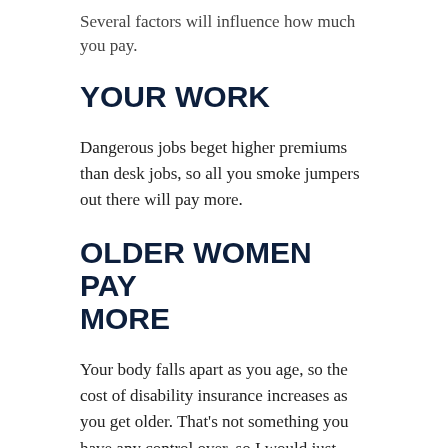Several factors will influence how much you pay.
YOUR WORK
Dangerous jobs beget higher premiums than desk jobs, so all you smoke jumpers out there will pay more.
OLDER WOMEN PAY MORE
Your body falls apart as you age, so the cost of disability insurance increases as you get older. That's not something you have any control over, so I would just forget about it.
WOMEN CAN PAY 40%